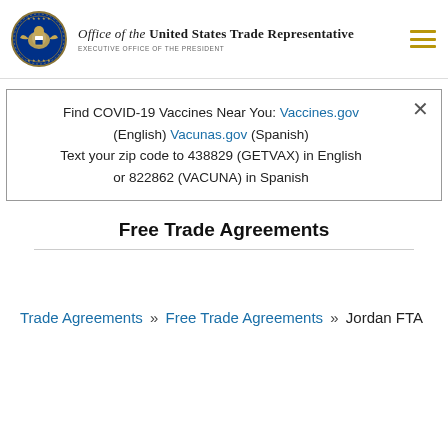Office of the United States Trade Representative — Executive Office of the President
Find COVID-19 Vaccines Near You: Vaccines.gov (English) Vacunas.gov (Spanish) Text your zip code to 438829 (GETVAX) in English or 822862 (VACUNA) in Spanish
Free Trade Agreements
Trade Agreements » Free Trade Agreements » Jordan FTA